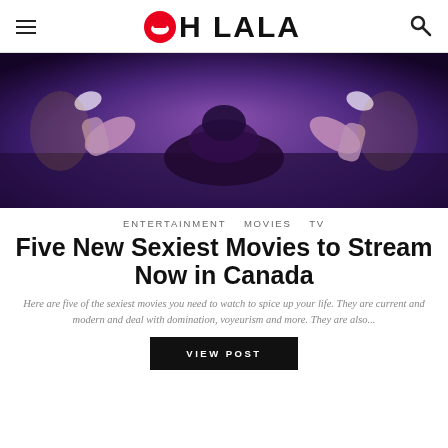OH LALA
[Figure (photo): A dimly lit purple-hued scene of a person lying on a bed, seen from behind, with legs raised and high heels visible.]
ENTERTAINMENT   MOVIES   TV
Five New Sexiest Movies to Stream Now in Canada
Here are five of the sexiest movies you need to watch to spice up your life. They are current and modern and deal with domination, voyeurism and more. They are also...
VIEW POST